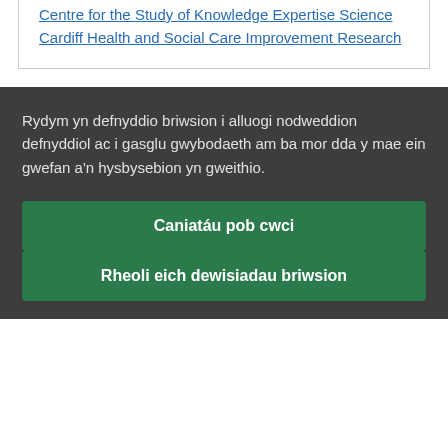Centre for the Study of Knowledge Expertise Science
Cardiff Health and Social Care Improvement Research
Rydym yn defnyddio briwsion i alluogi nodweddion defnyddiol ac i gasglu gwybodaeth am ba mor dda y mae ein gwefan a'n hysbysebion yn gweithio.
Caniatáu pob cwci
Rheoli eich dewisiadau briwsion